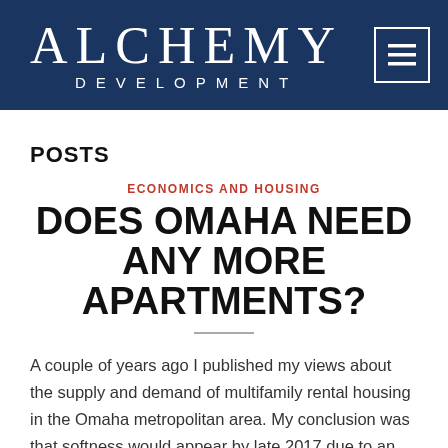ALCHEMY DEVELOPMENT
POSTS
ECONOMICS AND HOUSING
DOES OMAHA NEED ANY MORE APARTMENTS?
A couple of years ago I published my views about the supply and demand of multifamily rental housing in the Omaha metropolitan area. My conclusion was that softness would appear by late 2017 due to an